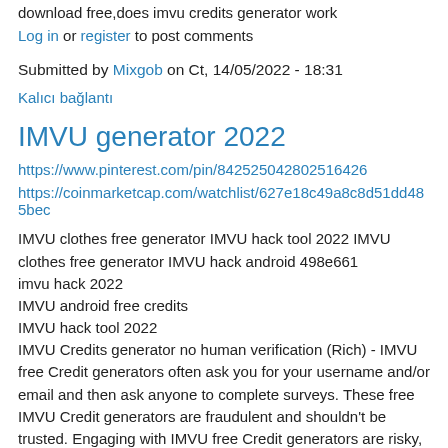download free,does imvu credits generator work
Log in or register to post comments
Submitted by Mixgob on Ct, 14/05/2022 - 18:31
Kalıcı bağlantı
IMVU generator 2022
https://www.pinterest.com/pin/842525042802516426
https://coinmarketcap.com/watchlist/627e18c49a8c8d51dd485bec
IMVU clothes free generator IMVU hack tool 2022 IMVU clothes free generator IMVU hack android 498e661
imvu hack 2022
IMVU android free credits
IMVU hack tool 2022
IMVU Credits generator no human verification (Rich) - IMVU free Credit generators often ask you for your username and/or email and then ask anyone to complete surveys. These free IMVU Credit generators are fraudulent and shouldn't be trusted. Engaging with IMVU free Credit generators are risky, can get your account hacked and even banned from IMVU. Don't waste your own